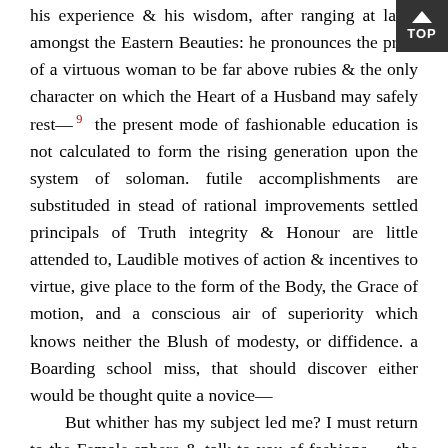his experience & his wisdom, after ranging at large amongst the Eastern Beauties: he pronounces the price of a virtuous woman to be far above rubies & the only character on which the Heart of a Husband may safely rest— 9 the present mode of fashionable education is not calculated to form the rising generation upon the system of soloman. futile accomplishments are substituded in stead of rational improvements settled principals of Truth integrity & Honour are little attended to, Laudible motives of action & incentives to virtue, give place to the form of the Body, the Grace of motion, and a conscious air of superiority which knows neither the Blush of modesty, or diffidence. a Boarding school miss, that should discover either would be thought quite a novice—
But whither has my subject led me? I must return to the Female sphere & talk to you of fashions — the Sandals which I send, I fear will prove too large, but the shoe maker says they are according to